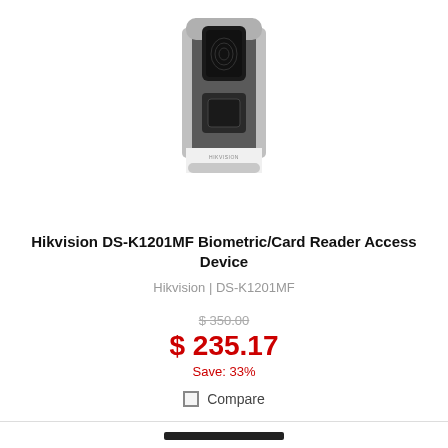[Figure (photo): Hikvision DS-K1201MF biometric fingerprint and card reader access control device — dark grey body with silver trim, fingerprint sensor at top, card reader window below, Hikvision logo at bottom]
Hikvision DS-K1201MF Biometric/Card Reader Access Device
Hikvision | DS-K1201MF
$ 350.00
$ 235.17
Save: 33%
Compare
Ask a question